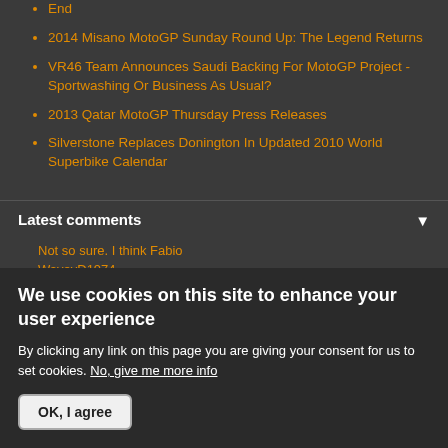End
2014 Misano MotoGP Sunday Round Up: The Legend Returns
VR46 Team Announces Saudi Backing For MotoGP Project - Sportwashing Or Business As Usual?
2013 Qatar MotoGP Thursday Press Releases
Silverstone Replaces Donington In Updated 2010 World Superbike Calendar
Latest comments
Not so sure. I think Fabio
WaveyD1974
1 hour 14 sec ago
We use cookies on this site to enhance your user experience
By clicking any link on this page you are giving your consent for us to set cookies. No, give me more info
OK, I agree